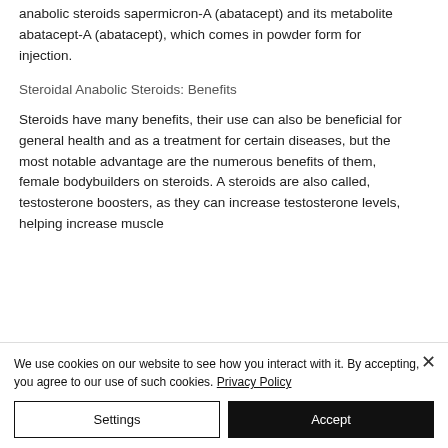anabolic steroids sapermicron-A (abatacept) and its metabolite abatacept-A (abatacept), which comes in powder form for injection.
Steroidal Anabolic Steroids: Benefits
Steroids have many benefits, their use can also be beneficial for general health and as a treatment for certain diseases, but the most notable advantage are the numerous benefits of them, female bodybuilders on steroids. A steroids are also called, testosterone boosters, as they can increase testosterone levels, helping increase muscle
We use cookies on our website to see how you interact with it. By accepting, you agree to our use of such cookies. Privacy Policy